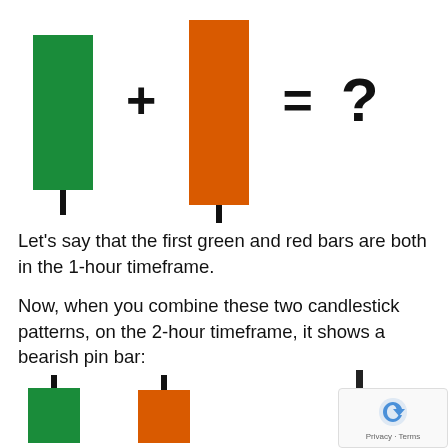[Figure (illustration): Two candlestick candles (green bullish and orange/red bearish) with plus, equals, and question mark operators between them, illustrating candlestick pattern combination concept]
Let's say that the first green and red bars are both in the 1-hour timeframe.
Now, when you combine these two candlestick patterns, on the 2-hour timeframe, it shows a bearish pin bar:
[Figure (illustration): Bottom portion showing three candlestick elements: a small green candle, a small orange/red candle, and a tall dark vertical line (representing the combined bearish pin bar result)]